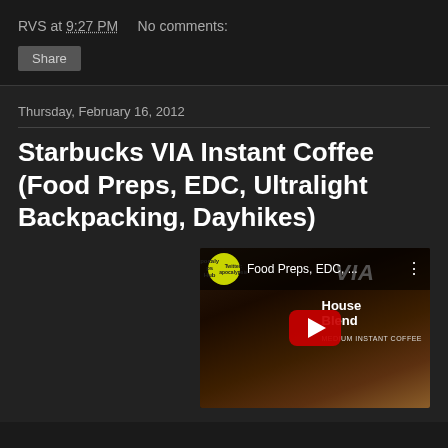RVS at 9:27 PM    No comments:
Share
Thursday, February 16, 2012
Starbucks VIA Instant Coffee (Food Preps, EDC, Ultralight Backpacking, Dayhikes)
[Figure (screenshot): YouTube video thumbnail showing Starbucks VIA instant coffee products with a red play button overlay. Top bar shows channel avatar labeled 'Apocalypse Hub' and title 'Food Preps, EDC, ...' with a three-dot menu icon.]